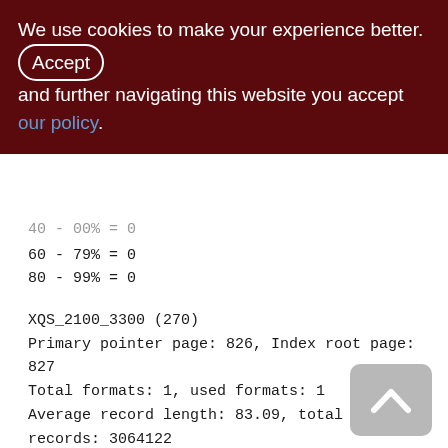We use cookies to make your experience better. By accepting and further navigating this website you accept our policy.
40 - 00% = 0
60 - 79% = 0
80 - 99% = 0
XQS_2100_3300 (270)
Primary pointer page: 826, Index root page: 827
Total formats: 1, used formats: 1
Average record length: 83.09, total records: 3064122
Average version length: 83.73, total versions: 8604, max versions: 1
Average fragment length: 0.00, total